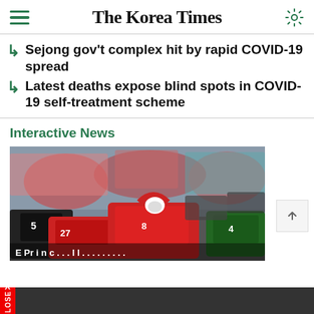The Korea Times
Sejong gov't complex hit by rapid COVID-19 spread
Latest deaths expose blind spots in COVID-19 self-treatment scheme
Interactive News
[Figure (photo): Formula E or IndyCar racing cars on track, red car in foreground with number 27, crowded race scene with spectators in background. Partial text visible at bottom.]